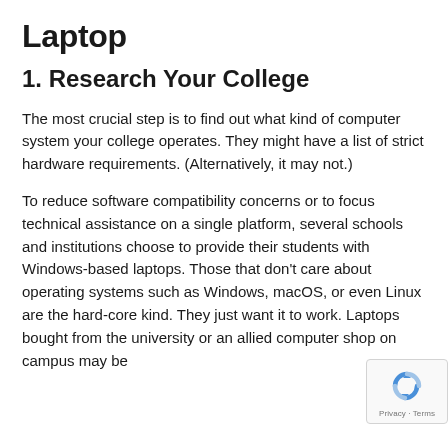Laptop
1. Research Your College
The most crucial step is to find out what kind of computer system your college operates. They might have a list of strict hardware requirements. (Alternatively, it may not.)
To reduce software compatibility concerns or to focus technical assistance on a single platform, several schools and institutions choose to provide their students with Windows-based laptops. Those that don't care about operating systems such as Windows, macOS, or even Linux are the hard-core kind. They just want it to work. Laptops bought from the university or an allied computer shop on campus may be
[Figure (other): Google reCAPTCHA badge with spinning arrows logo and 'Privacy - Terms' text]